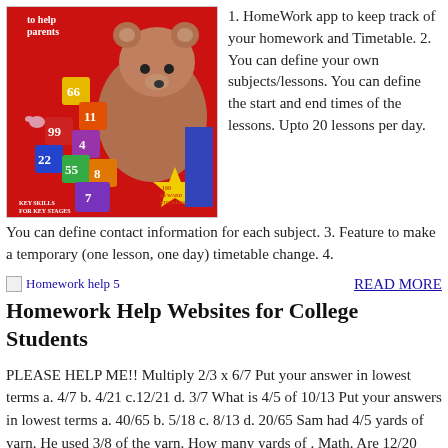[Figure (illustration): Children's educational book cover with a cartoon bear and numbered blocks, titled with 'to help parents', 'KEY SKILLS FOR KEY STAGES', '100 REWARD STICKERS']
1. HomeWork app to keep track of your homework and Timetable. 2. You can define your own subjects/lessons. You can define the start and end times of the lessons. Upto 20 lessons per day. You can define contact information for each subject. 3. Feature to make a temporary (one lesson, one day) timetable change. 4.
[Figure (illustration): Small image placeholder labeled 'Homework help 5']
READ MORE
Homework Help Websites for College Students
PLEASE HELP ME!! Multiply 2/3 x 6/7 Put your answer in lowest terms a. 4/7 b. 4/21 c.12/21 d. 3/7 What is 4/5 of 10/13 Put your answers in lowest terms a. 40/65 b. 5/18 c. 8/13 d. 20/65 Sam had 4/5 yards of yarn. He used 3/8 of the yarn. How many yards of . Math. Are 12/20 and 22/30 equivalent fractions? I forgot the whole topic of fractions.